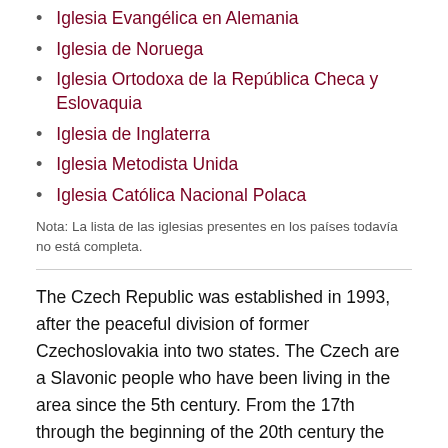Iglesia Evangélica en Alemania
Iglesia de Noruega
Iglesia Ortodoxa de la República Checa y Eslovaquia
Iglesia de Inglaterra
Iglesia Metodista Unida
Iglesia Católica Nacional Polaca
Nota: La lista de las iglesias presentes en los países todavía no está completa.
The Czech Republic was established in 1993, after the peaceful division of former Czechoslovakia into two states. The Czech are a Slavonic people who have been living in the area since the 5th century. From the 17th through the beginning of the 20th century the territory was part of the Austro-Hungarian Empire. Czechoslovakia was founded in 1918. It came under communist rule in 1948, after World War II, until 1989 when the Soviet bloc collapsed. The